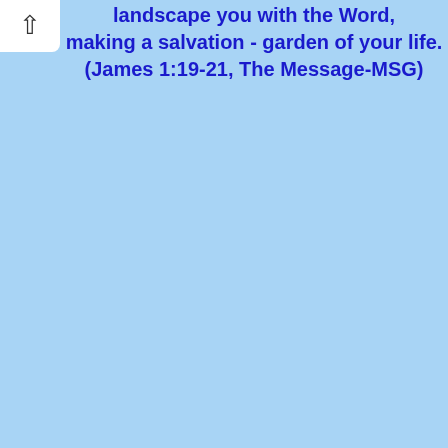landscape you with the Word, making a salvation - garden of your life. (James 1:19-21, The Message-MSG)